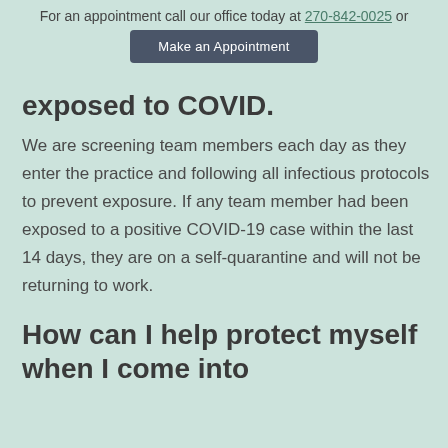For an appointment call our office today at 270-842-0025 or
Make an Appointment
exposed to COVID.
We are screening team members each day as they enter the practice and following all infectious protocols to prevent exposure. If any team member had been exposed to a positive COVID-19 case within the last 14 days, they are on a self-quarantine and will not be returning to work.
How can I help protect myself when I come into